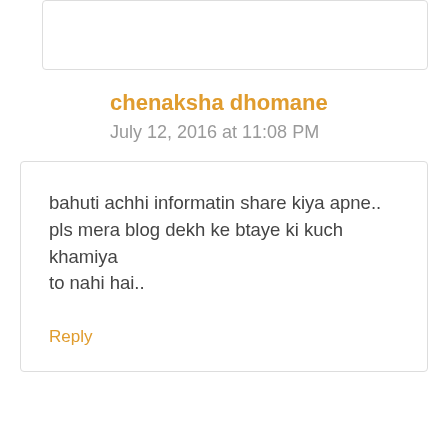chenaksha dhomane
July 12, 2016 at 11:08 PM
bahuti achhi informatin share kiya apne..
pls mera blog dekh ke btaye ki kuch khamiya
to nahi hai..
Reply